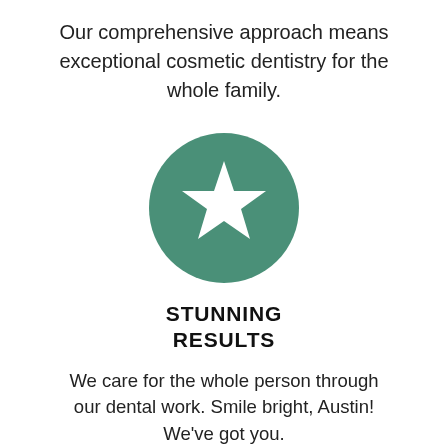Our comprehensive approach means exceptional cosmetic dentistry for the whole family.
[Figure (illustration): Green circle with white star icon in the center]
STUNNING RESULTS
We care for the whole person through our dental work. Smile bright, Austin! We've got you.
[Figure (illustration): Partially visible green circle with white dots/teeth icon (cropped at bottom)]